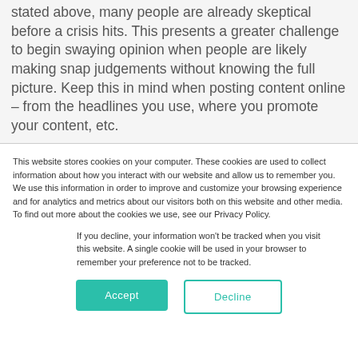stated above, many people are already skeptical before a crisis hits. This presents a greater challenge to begin swaying opinion when people are likely making snap judgements without knowing the full picture. Keep this in mind when posting content online – from the headlines you use, where you promote your content, etc.
This website stores cookies on your computer. These cookies are used to collect information about how you interact with our website and allow us to remember you. We use this information in order to improve and customize your browsing experience and for analytics and metrics about our visitors both on this website and other media. To find out more about the cookies we use, see our Privacy Policy.
If you decline, your information won't be tracked when you visit this website. A single cookie will be used in your browser to remember your preference not to be tracked.
Accept
Decline